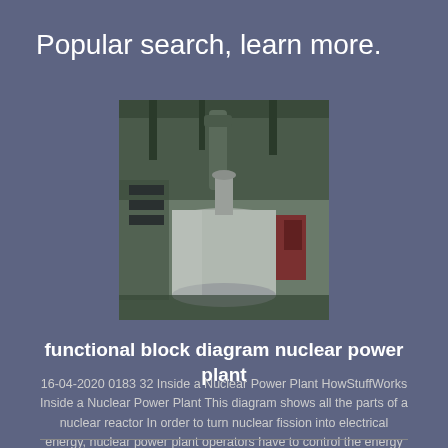Popular search, learn more.
[Figure (photo): Industrial machinery inside a large building, possibly a nuclear reactor component or industrial vessel with overhead pipes and equipment]
functional block diagram nuclear power plant
16-04-2020 0183 32 Inside a Nuclear Power Plant HowStuffWorks Inside a Nuclear Power Plant This diagram shows all the parts of a nuclear reactor In order to turn nuclear fission into electrical energy, nuclear power plant operators have to control the energy given off by the enriched uranium and allow it to heat water into steam...